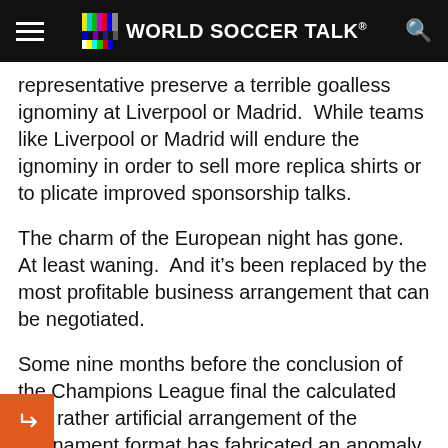World Soccer Talk
representative preserve a terrible goalless ignominy at Liverpool or Madrid.  While teams like Liverpool or Madrid will endure the ignominy in order to sell more replica shirts or to plicate improved sponsorship talks.
The charm of the European night has gone.  At least waning.  And it’s been replaced by the most profitable business arrangement that can be negotiated.
Some nine months before the conclusion of the Champions League final the calculated and rather artificial arrangement of the tournament format has fabricated an anomaly of a fixture very early on the proceedings.  Last season’s Champions